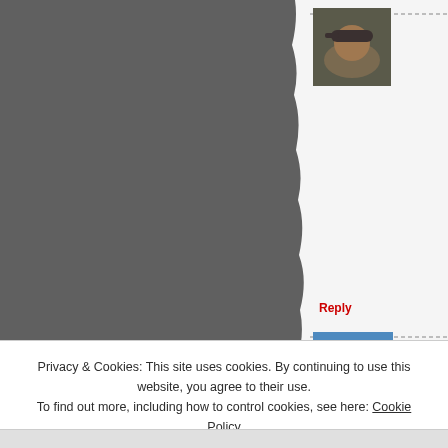[Figure (photo): Large gray photo area on the left side of the page with torn/ragged right edge effect]
[Figure (photo): Small avatar thumbnail of a person wearing a cap, in the right panel]
Reply
[Figure (photo): Small avatar thumbnail showing a bird in flight against blue sky, in the right panel]
Reply
[Figure (photo): Small partial avatar thumbnail in the right panel]
Privacy & Cookies: This site uses cookies. By continuing to use this website, you agree to their use. To find out more, including how to control cookies, see here: Cookie Policy
Close and accept